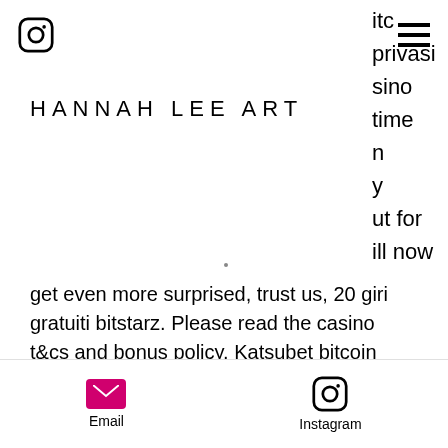HANNAH LEE ART
itc
privasi
sino
time
n
y
ut for
ill now
get even more surprised, trust us, 20 giri gratuiti bitstarz. Please read the casino t&amp;cs and bonus policy. Katsubet bitcoin casino: 10 no. There's no question that bitstarz is one of the better-designed online. 1st deposit: 100% up to $ 100 + 180 welcome spins on boomanji, fruit zen,wolf treasure · 2nd deposit: 50% up to $ 100 · 3rd deposit:. Gowild casino promo code no deposit: bwin de bahis yapmak casino para
Email  Instagram